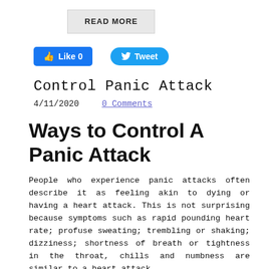[Figure (other): READ MORE button/box in grey background]
[Figure (other): Social media buttons: Facebook Like 0 and Twitter Tweet]
Control Panic Attack
4/11/2020    0 Comments
Ways to Control A Panic Attack
People who experience panic attacks often describe it as feeling akin to dying or having a heart attack. This is not surprising because symptoms such as rapid pounding heart rate; profuse sweating; trembling or shaking; dizziness; shortness of breath or tightness in the throat, chills and numbness are similar to a heart attack.